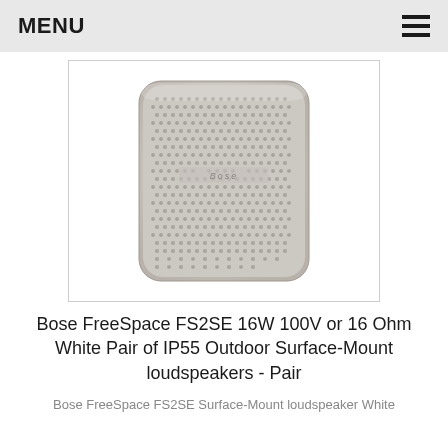MENU
[Figure (photo): Photo of a Bose FreeSpace FS2SE white surface-mount loudspeaker, showing the front grille with dot pattern, rounded rectangular shape, and Bose logo in the center.]
Bose FreeSpace FS2SE 16W 100V or 16 Ohm White Pair of IP55 Outdoor Surface-Mount loudspeakers - Pair
Bose FreeSpace FS2SE Surface-Mount loudspeaker White